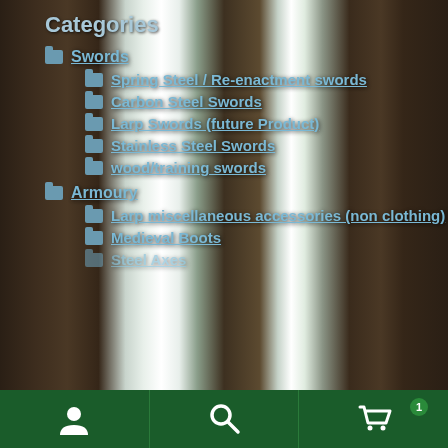Categories
Swords
Spring Steel / Re-enactment swords
Carbon Steel Swords
Larp Swords (future Product)
Stainless Steel Swords
wood/training swords
Armoury
Larp miscellaneous accessories (non clothing)
Medieval Boots
Steel Axes
[Figure (screenshot): Mobile app bottom navigation bar with dark green background showing user/account icon, search icon, and shopping cart icon with badge showing 1 item]